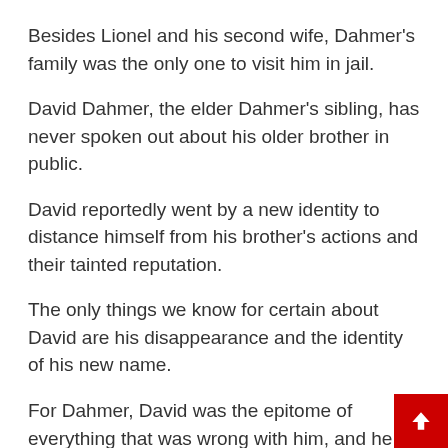Besides Lionel and his second wife, Dahmer's family was the only one to visit him in jail.
David Dahmer, the elder Dahmer's sibling, has never spoken out about his older brother in public.
David reportedly went by a new identity to distance himself from his brother's actions and their tainted reputation.
The only things we know for certain about David are his disappearance and the identity of his new name.
For Dahmer, David was the epitome of everything that was wrong with him, and he hated him for it.
After the Dahmers' divorce, David moved live with